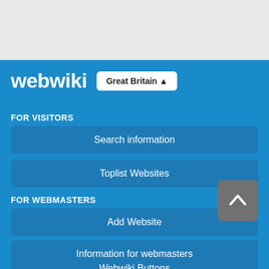[Figure (screenshot): Gray top banner area of a webpage]
[Figure (logo): Webwiki logo in white text on blue background]
Great Britain ▲
FOR VISITORS
Search information
Toplist Websites
FOR WEBMASTERS
Add Website
Information for webmasters
Webwiki Buttons